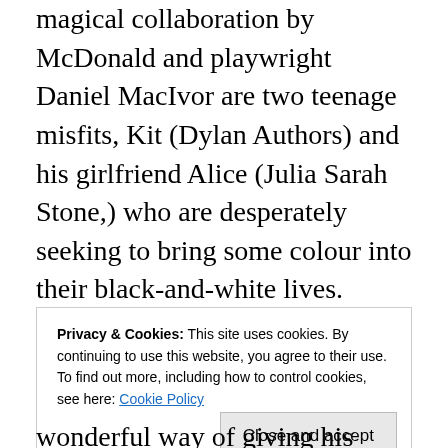magical collaboration by McDonald and playwright Daniel MacIvor are two teenage misfits, Kit (Dylan Authors) and his girlfriend Alice (Julia Sarah Stone,) who are desperately seeking to bring some colour into their black-and-white lives. Together they hitchhike their way to the big city – in this case, Sidney, Nova Scotia – where Kit plans to live with his glamorous mother (Molly Parker.) And although at first glance Weirdos resembles a teenage road movie, Kit and Julia soon learn that sometimes the destination is the journey.
Privacy & Cookies: This site uses cookies. By continuing to use this website, you agree to their use. To find out more, including how to control cookies, see here: Cookie Policy
Close and accept
wonderful way of giving his actors their moments to shine.